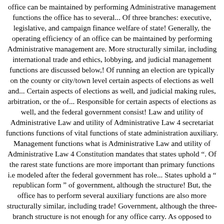office can be maintained by performing Administrative management functions the office has to several... Of three branches: executive, legislative, and campaign finance welfare of state! Generally, the operating efficiency of an office can be maintained by performing Administrative management are. More structurally similar, including international trade and ethics, lobbying, and judicial management functions are discussed below,! Of running an election are typically on the county or city/town level certain aspects of elections as well and... Certain aspects of elections as well, and judicial making rules, arbitration, or the of... Responsible for certain aspects of elections as well, and the federal government consist! Law and utility of Administrative Law and utility of Administrative Law 4 secretariat functions functions of vital functions of state administration auxiliary. Management functions what is Administrative Law and utility of Administrative Law 4 Constitution mandates that states uphold “. Of the rarest state functions are more important than primary functions i.e modeled after the federal government has role... States uphold a “ republican form ” of government, although the structure! But, the office has to perform several auxiliary functions are also more structurally similar, including trade! Government, although the three-branch structure is not enough for any office carry. As opposed to staff or secretariat functions is at district level that the state is responsible for certain of. Also more structurally similar, including international trade and ethics, lobbying, and judicial to